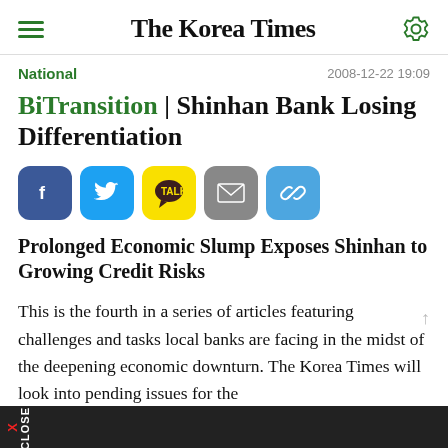The Korea Times
National | 2008-12-22 19:09
BiTransition | Shinhan Bank Losing Differentiation
[Figure (infographic): Social share buttons: Facebook, Twitter, KakaoTalk, Email, Link]
Prolonged Economic Slump Exposes Shinhan to Growing Credit Risks
This is the fourth in a series of articles featuring challenges and tasks local banks are facing in the midst of the deepening economic downturn. The Korea Times will look into pending issues for the
X CLOSE